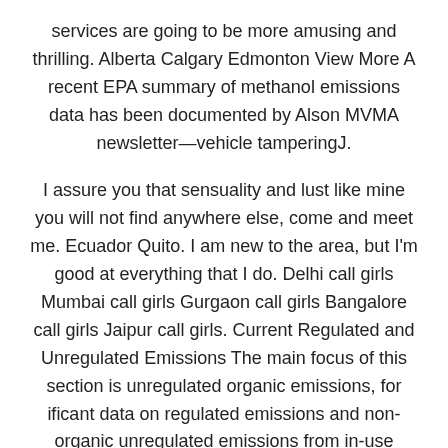services are going to be more amusing and thrilling. Alberta Calgary Edmonton View More A recent EPA summary of methanol emissions data has been documented by Alson MVMA newsletter—vehicle tamperingJ.
I assure you that sensuality and lust like mine you will not find anywhere else, come and meet me. Ecuador Quito. I am new to the area, but I'm good at everything that I do. Delhi call girls Mumbai call girls Gurgaon call girls Bangalore call girls Jaipur call girls. Current Regulated and Unregulated Emissions The main focus of this section is unregulated organic emissions, for ificant data on regulated emissions and non-organic unregulated emissions from in-use vehicles have been